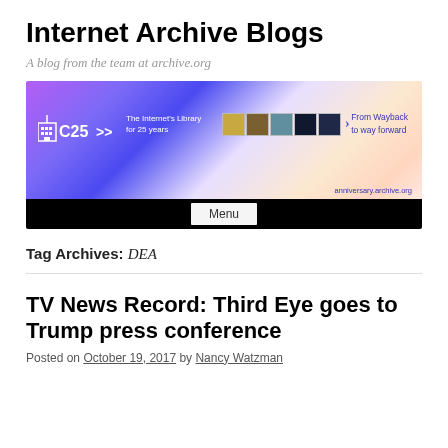Internet Archive Blogs
A blog from the team at archive.org
[Figure (screenshot): Internet Archive 25th anniversary banner with purple/blue gradient background showing IA logo, '25' symbol, thumbnails, and 'From Wayback to way forward' text, with a black menu bar below containing a Menu button]
Tag Archives: DEA
TV News Record: Third Eye goes to Trump press conference
Posted on October 19, 2017 by Nancy Watzman